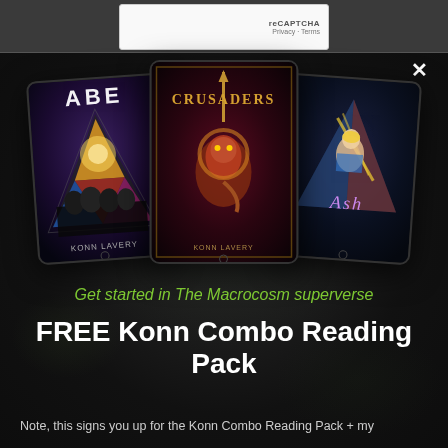[Figure (screenshot): reCAPTCHA verification box at top of page]
[Figure (illustration): Three tablet devices displaying book covers: ABE by Konn Lavery (left), CRUSADERS by Konn Lavery (center, larger), and Ash (right). Dark fantasy/sci-fi covers on digital tablets.]
Get started in The Macrocosm superverse
FREE Konn Combo Reading Pack
Note, this signs you up for the Konn Combo Reading Pack + my